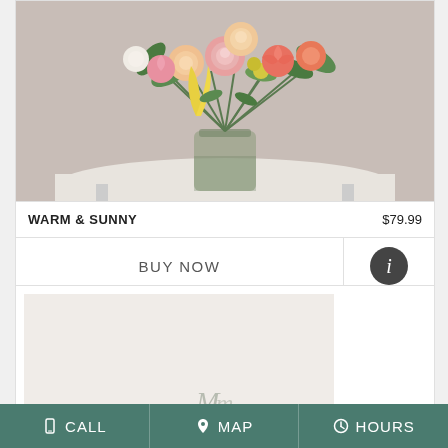[Figure (photo): Floral arrangement of pink roses, coral carnations, yellow tulips in a glass vase on a distressed white table]
WARM & SUNNY    $79.99
BUY NOW
[Figure (other): Info button circle with i icon]
[Figure (photo): Second product card with light beige/white background, partial script text visible]
CALL   MAP   HOURS